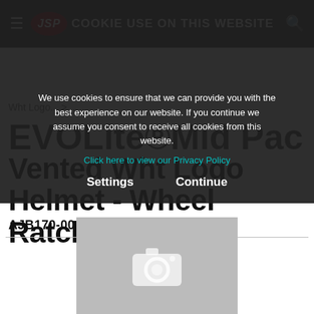COOKIE USE ON THIS WEBSITE
We use cookies to ensure that we can provide you with the best experience on our website. If you continue we assume you consent to receive all cookies from this website.
Click here to view our Privacy Policy
Settings    Continue
EVOLite® Mid Pack Vented Wht Logo Helmet - Wheel Ratchet - ABT
AJB170-000-101-A1065
[Figure (photo): Product image placeholder with camera icon on grey background]